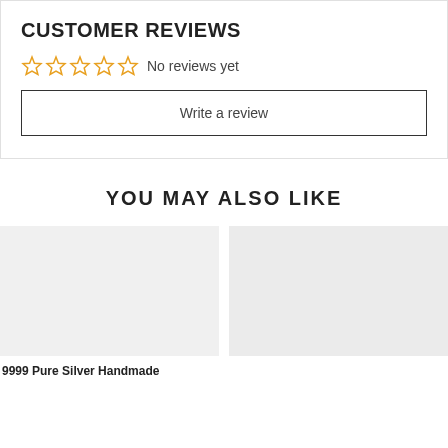CUSTOMER REVIEWS
☆☆☆☆☆  No reviews yet
Write a review
YOU MAY ALSO LIKE
[Figure (photo): Product image placeholder (light gray rectangle)]
[Figure (photo): Product image placeholder (light gray rectangle, partially visible)]
9999 Pure Silver Handmade